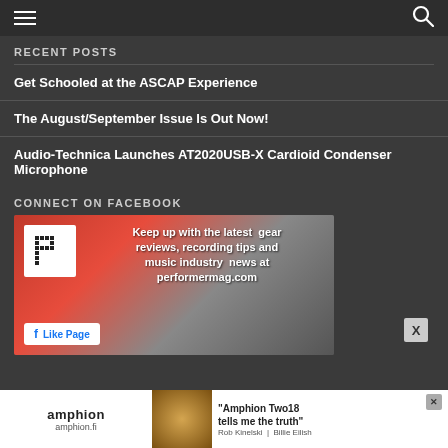Navigation header with hamburger menu and search icon
RECENT POSTS
Get Schooled at the ASCAP Experience
The August/September Issue Is Out Now!
Audio-Technica Launches AT2020USB-X Cardioid Condenser Microphone
CONNECT ON FACEBOOK
[Figure (screenshot): Facebook page widget with performer magazine logo and text: Keep up with the latest gear reviews, recording tips and music industry news at performermag.com, with a Like Page button]
[Figure (screenshot): Advertisement for Amphion Two18 speaker: 'Amphion Two18 tells me the truth' - Rob Kinelski | Billie Eilish, amphion.fi]